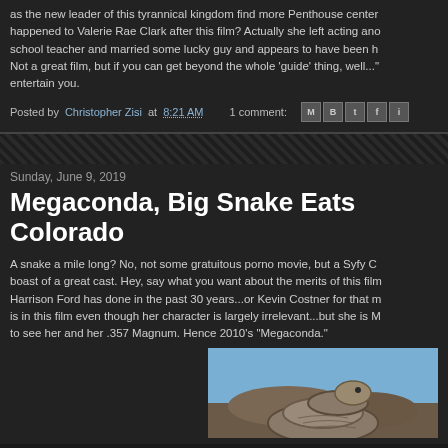as the new leader of this tyrannical kingdom find more Penthouse center... happened to Valerie Rae Clark after this film? Actually she left acting and school teacher and married some lucky guy and appears to have been h... Not a great film, but if you can get beyond the whole 'guide' thing, well..." entertain you.
Posted by Christopher Zisi at 8:21 AM   1 comment:
Sunday, June 9, 2019
Megaconda, Big Snake Eats Colorado
A snake a mile long? No, not some gratuitous porno movie, but a Syfy C... boast of a great cast. Hey, say what you want about the merits of this film... Harrison Ford has done in the past 30 years...or Kevin Costner for that m... is in this film even though her character is largely irrelevant...but she is M... to see her and her .357 Magnum. Hence 2010's "Megaconda."
[Figure (photo): Photo of a large snake coiled, set against a blue sky and rocky terrain background]